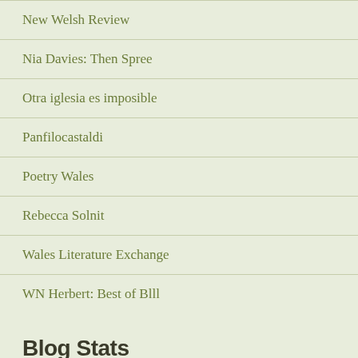New Welsh Review
Nia Davies: Then Spree
Otra iglesia es imposible
Panfilocastaldi
Poetry Wales
Rebecca Solnit
Wales Literature Exchange
WN Herbert: Best of Blll
Blog Stats
200,772 hits